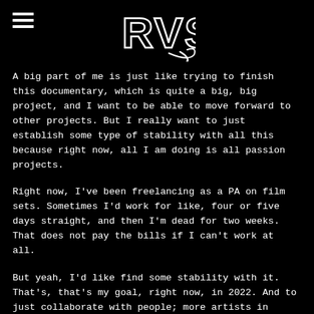[Figure (logo): RVS stylized graffiti/gothic logo in white outline on black background]
A big part of me is just like trying to finish this documentary, which is quite a big, big project, and I want to be able to move forward to other projects. But I really want to just establish some type of stability with all this because right now, all I am doing is all passion projects.
Right now, I've been freelancing as a PA on film sets. Sometimes I'd work for like, four or five days straight, and then I'm dead for two weeks. That does not pay the bills if I can't work at all.
But yeah, I'd like find some stability with it. That's, that's my goal, right now, in 2022. And to just collaborate with people; more artists in Richmond.